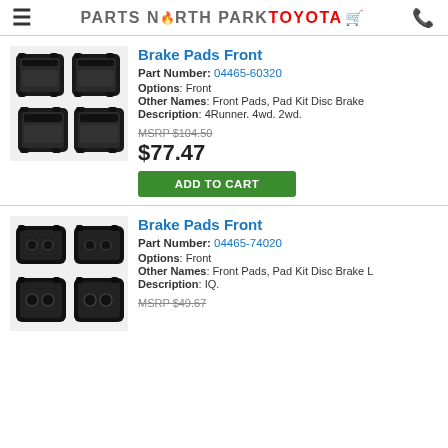PARTS NORTH PARK TOYOTA
Brake Pads Front
Part Number: 04465-60320
Options: Front
Other Names: Front Pads, Pad Kit Disc Brake
Description: 4Runner. 4wd. 2wd.
MSRP $104.50
$77.47
ADD TO CART
[Figure (photo): Photo of front brake pads set (4 pads)]
Brake Pads Front
Part Number: 04465-74020
Options: Front
Other Names: Front Pads, Pad Kit Disc Brake L
Description: IQ.
MSRP $49.67
[Figure (photo): Photo of front brake pads set (4 pads)]